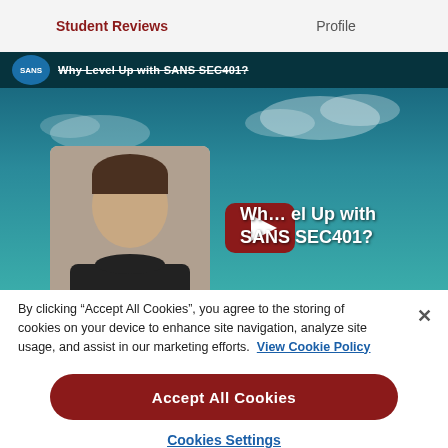Student Reviews  |  Profile
[Figure (screenshot): Video thumbnail showing a person and YouTube play button with text 'Why Level Up with SANS SEC401?']
By clicking “Accept All Cookies”, you agree to the storing of cookies on your device to enhance site navigation, analyze site usage, and assist in our marketing efforts. View Cookie Policy
Accept All Cookies
Cookies Settings